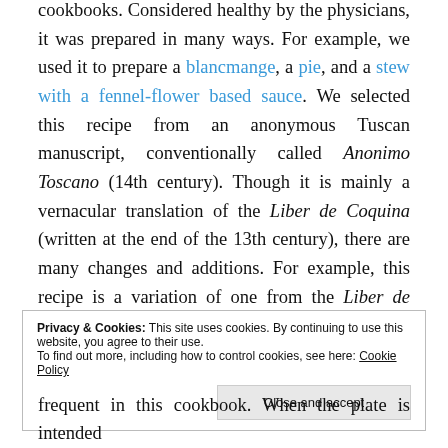cookbooks. Considered healthy by the physicians, it was prepared in many ways. For example, we used it to prepare a blancmange, a pie, and a stew with a fennel-flower based sauce. We selected this recipe from an anonymous Tuscan manuscript, conventionally called Anonimo Toscano (14th century). Though it is mainly a vernacular translation of the Liber de Coquina (written at the end of the 13th century), there are many changes and additions. For example, this recipe is a variation of one from the Liber de Coquina, but with more spices: the Latin manuscript calls just for saffron.
Privacy & Cookies: This site uses cookies. By continuing to use this website, you agree to their use. To find out more, including how to control cookies, see here: Cookie Policy
frequent in this cookbook. When the plate is intended